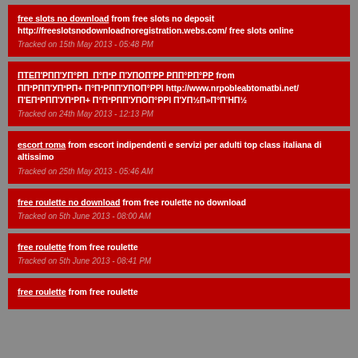free slots no download from free slots no deposit http://freeslotsnodownloadnoregistration.webs.com/ free slots online
Tracked on 15th May 2013 - 05:48 PM
ПТЕП'РПП'УП°РП  П°П²Р П'УПОП'РР РПП°РП°РР from ПП³РПП'УП²РП+ П°П²РПП'УПОП°РРl http://www.nrpobleabtomatbi.net/ П'ЕП²РПП'УП²РП+ П°П²РПП'УПОП°РРl П'УП½П»П°П'НП½
Tracked on 24th May 2013 - 12:13 PM
escort roma from escort indipendenti e servizi per adulti top class italiana di altissimo
Tracked on 25th May 2013 - 05:46 AM
free roulette no download from free roulette no download
Tracked on 5th June 2013 - 08:00 AM
free roulette from free roulette
Tracked on 5th June 2013 - 08:41 PM
free roulette from free roulette